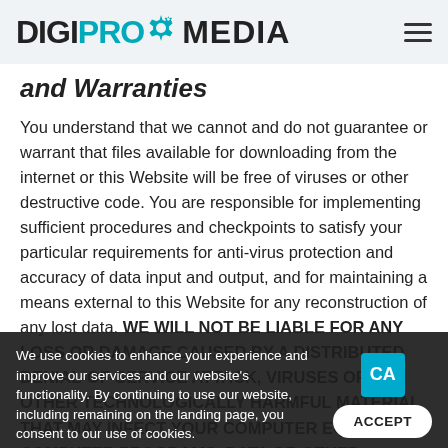DIGIPRO MEDIA
and Warranties
You understand that we cannot and do not guarantee or warrant that files available for downloading from the internet or this Website will be free of viruses or other destructive code. You are responsible for implementing sufficient procedures and checkpoints to satisfy your particular requirements for anti-virus protection and accuracy of data input and output, and for maintaining a means external to this Website for any reconstruction of any lost data. WE WILL NOT BE LIABLE FOR ANY LOSS OR DAMAGE CAUSED BY A DISTRIBUTED DENIAL-OF-SERVICE ATTACK, VIRUSES OR OTHER TECHNOLOGICALLY HARMFUL MATERIAL THAT MAY INFECT YOUR COMPUTER EQUIPMENT, COMPUTER PROGRAMS, DATA OR OTHER PROPRIETARY MATERIAL DUE TO YOUR USE OF THIS WEBSITE, ANY
We use cookies to enhance your experience and improve our services and our website's functionality. By continuing to use our website, including remaining on the landing page, you consent to our use of cookies.